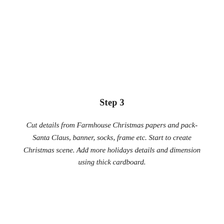Step 3
Cut details from Farmhouse Christmas papers and pack- Santa Claus, banner, socks, frame etc. Start to create Christmas scene. Add more holidays details and dimension using thick cardboard.